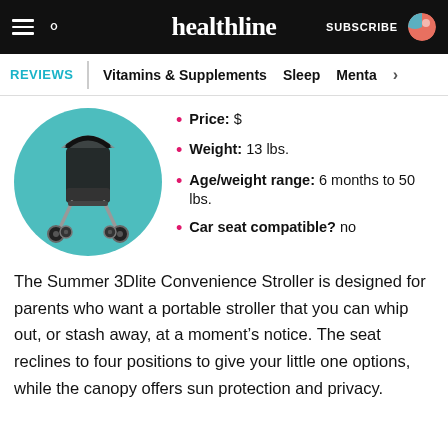healthline — SUBSCRIBE
REVIEWS | Vitamins & Supplements | Sleep | Menta >
[Figure (photo): Black and silver Summer 3Dlite umbrella stroller on a teal circular background]
Price: $
Weight: 13 lbs.
Age/weight range: 6 months to 50 lbs.
Car seat compatible? no
The Summer 3Dlite Convenience Stroller is designed for parents who want a portable stroller that you can whip out, or stash away, at a moment's notice. The seat reclines to four positions to give your little one options, while the canopy offers sun protection and privacy.